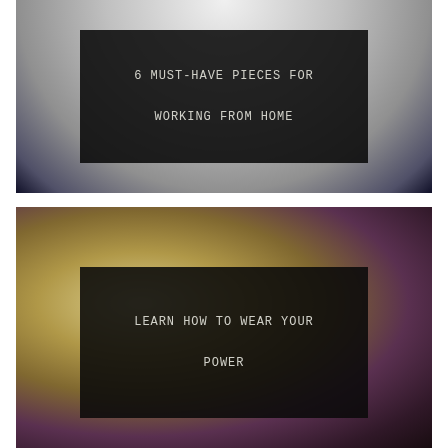[Figure (photo): Person in navy blazer and white outfit, upper body visible against light background. Black overlay box with text.]
6 MUST-HAVE PIECES FOR WORKING FROM HOME
[Figure (photo): Two women wearing aviator sunglasses, close-up selfie style. Black overlay box with text.]
LEARN HOW TO WEAR YOUR POWER